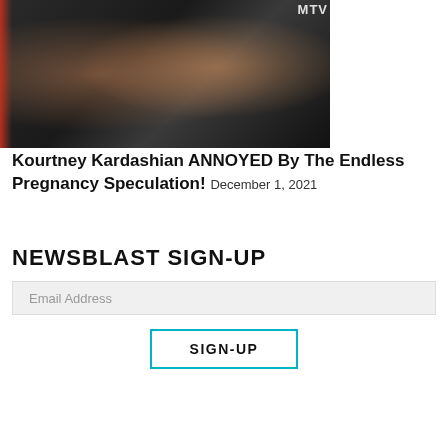[Figure (photo): Celebrity couple at MTV event; man with tattoos in black outfit on left, woman smiling in black off-shoulder dress on right, MTV logo visible in background]
Kourtney Kardashian ANNOYED By The Endless Pregnancy Speculation! December 1, 2021
NEWSBLAST SIGN-UP
Email Address
SIGN-UP